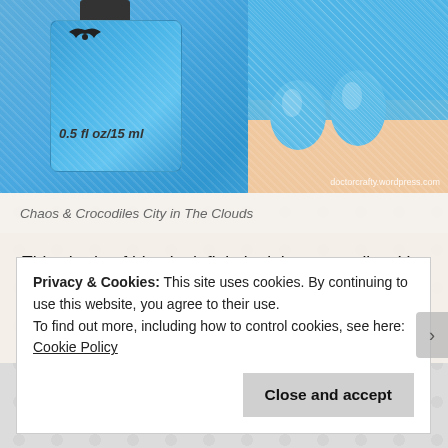[Figure (photo): A blue glitter nail polish bottle labeled '0.5 fl oz/15 ml' with a bat logo on the cap, shown next to a hand with nails painted the same shimmery cornflower blue. Watermark reads 'doctorcrafty.wordpress.com'.]
Chaos & Crocodiles City in The Clouds
This shade of blue is definitely right up my alley. It's not too dark, not too light, and it's like this cornflower blue but better 🙂
Privacy & Cookies: This site uses cookies. By continuing to use this website, you agree to their use.
To find out more, including how to control cookies, see here: Cookie Policy
Close and accept